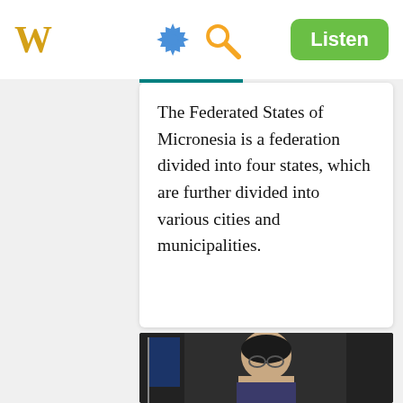W  [gear icon] [search icon]  Listen
The Federated States of Micronesia is a federation divided into four states, which are further divided into various cities and municipalities.
[Figure (photo): Photograph of a person (appears to be an official or dignitary) with dark hair and glasses, in front of a flag and bookshelves background.]